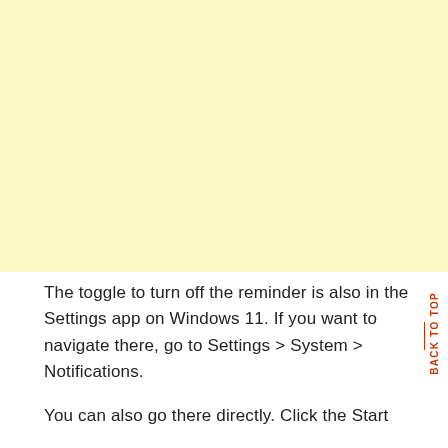[Figure (other): Yellow/cream colored background block occupying the top portion of the page]
The toggle to turn off the reminder is also in the Settings app on Windows 11. If you want to navigate there, go to Settings > System > Notifications.
You can also go there directly. Click the Start